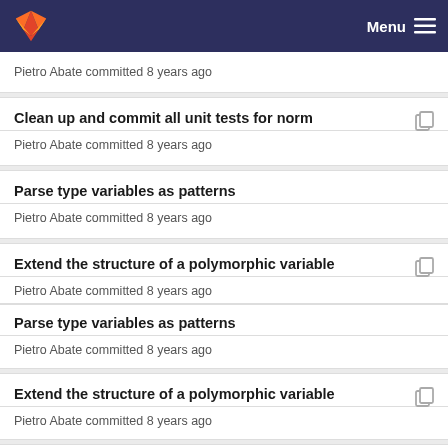Menu
Pietro Abate committed 8 years ago
Clean up and commit all unit tests for norm
Pietro Abate committed 8 years ago
Parse type variables as patterns
Pietro Abate committed 8 years ago
Extend the structure of a polymorphic variable
Pietro Abate committed 8 years ago
Parse type variables as patterns
Pietro Abate committed 8 years ago
Extend the structure of a polymorphic variable
Pietro Abate committed 8 years ago
Tallying apply algorithm